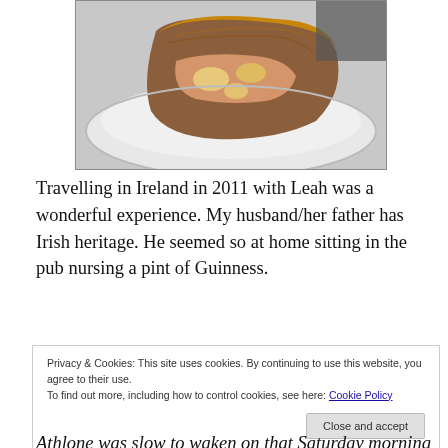[Figure (photo): A slice of baked cake or bread on a white plate, photographed from above at slight angle. The food appears to be a slice of brown, crumbly baked good with visible fruit or filling inside.]
Travelling in Ireland in 2011 with Leah was a wonderful experience. My husband/her father has Irish heritage. He seemed so at home sitting in the pub nursing a pint of Guinness.
Privacy & Cookies: This site uses cookies. By continuing to use this website, you agree to their use.
To find out more, including how to control cookies, see here: Cookie Policy
Close and accept
Athlone was slow to waken on that Saturday morning